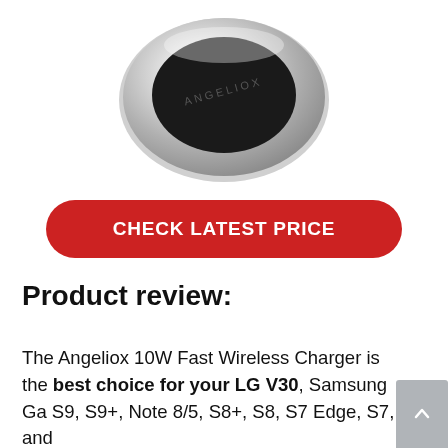[Figure (photo): Top-down view of a circular Angeliox wireless charger pad with black center and silver/chrome ring edge]
CHECK LATEST PRICE
Product review:
The Angeliox 10W Fast Wireless Charger is the best choice for your LG V30, Samsung Ga S9, S9+, Note 8/5, S8+, S8, S7 Edge, S7, and